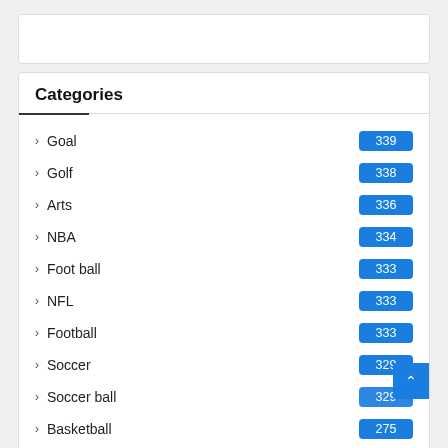Categories
Goal 339
Golf 338
Arts 336
NBA 334
Foot ball 333
NFL 333
Football 333
Soccer 329
Soccer ball 329
Basketball 275